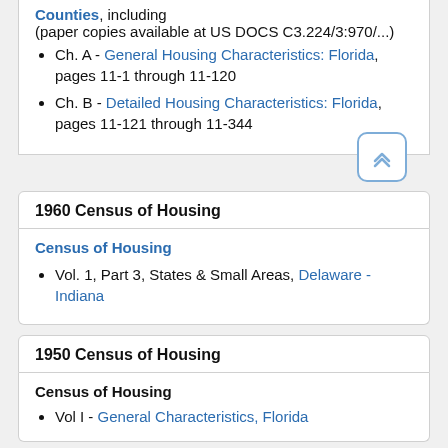Counties, including (paper copies available at US DOCS C3.224/3:970/...)
Ch. A - General Housing Characteristics: Florida, pages 11-1 through 11-120
Ch. B - Detailed Housing Characteristics: Florida, pages 11-121 through 11-344
1960 Census of Housing
Census of Housing
Vol. 1, Part 3, States & Small Areas, Delaware - Indiana
1950 Census of Housing
Census of Housing
Vol I - General Characteristics, Florida